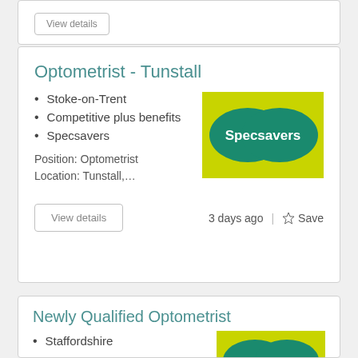Optometrist - Tunstall
Stoke-on-Trent
Competitive plus benefits
Specsavers
Position: Optometrist
Location: Tunstall,...
[Figure (logo): Specsavers logo on lime green background with two overlapping teal circles]
3 days ago
Save
Newly Qualified Optometrist
Staffordshire
45k + Bonus + potential joining bonus up to 5k
[Figure (logo): Specsavers logo on lime green background with two overlapping teal circles]